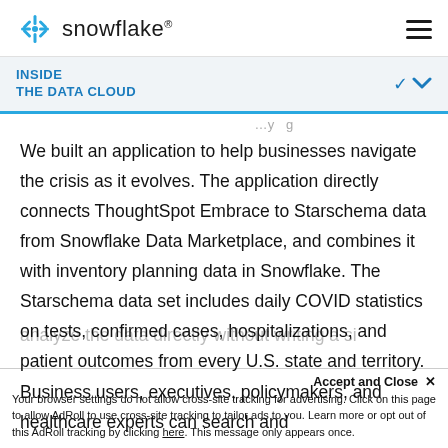snowflake®
INSIDE THE DATA CLOUD
We built an application to help businesses navigate the crisis as it evolves. The application directly connects ThoughtSpot Embrace to Starschema data from Snowflake Data Marketplace, and combines it with inventory planning data in Snowflake. The Starschema data set includes daily COVID statistics on tests, confirmed cases, hospitalizations, and patient outcomes from every U.S. state and territory. Business users, executives, policymakers, and healthcare experts can search and analyze the data directly without writing a si…
Accept and Close ×
Your browser settings do not allow cross-site tracking for advertising. Click on this page to allow AdRoll to use cross-site tracking to tailor ads to you. Learn more or opt out of this AdRoll tracking by clicking here. This message only appears once.